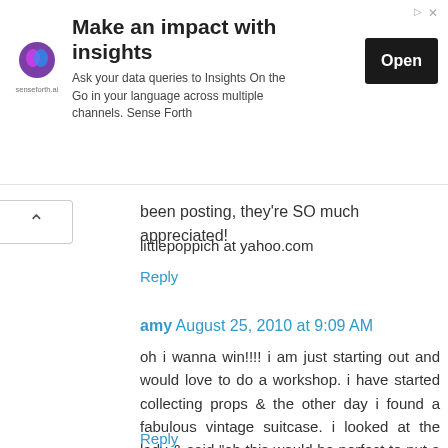[Figure (screenshot): Advertisement banner for senseforth.ai with logo, headline 'Make an impact with insights', description text, and 'Open' button]
been posting, they're SO much appreciated!
littlepoppich at yahoo.com
Reply
amy  August 25, 2010 at 9:09 AM
oh i wanna win!!!! i am just starting out and would love to do a workshop. i have started collecting props & the other day i found a fabulous vintage suitcase. i looked at the lady & said "oh this would be perfect to put a baby in." then noticing a puzzled look on the woman's face i said "oh for photography..." thought that i might need to explain...
Reply